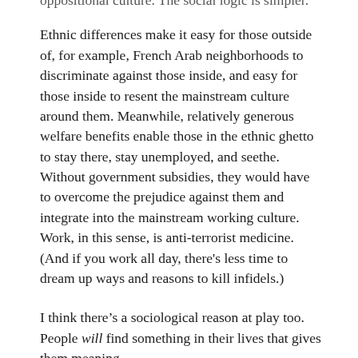oppositional culture. The social logic is simpler.
Ethnic differences make it easy for those outside of, for example, French Arab neighborhoods to discriminate against those inside, and easy for those inside to resent the mainstream culture around them. Meanwhile, relatively generous welfare benefits enable those in the ethnic ghetto to stay there, stay unemployed, and seethe. Without government subsidies, they would have to overcome the prejudice against them and integrate into the mainstream working culture. Work, in this sense, is anti-terrorist medicine. (And if you work all day, there's less time to dream up ways and reasons to kill infidels.)
I think there’s a sociological reason at play too. People will find something in their lives that gives them meaning.
For many people, work does give their lives meaning. Few like work, but most understand the accomplishment of standing on one’s own feet